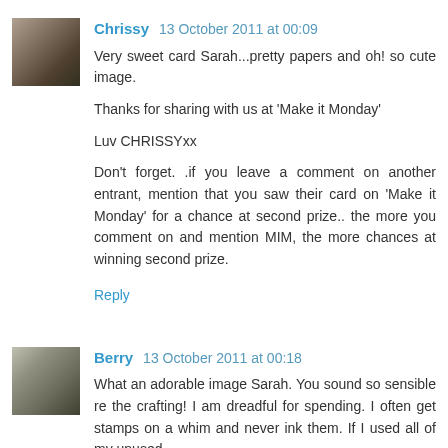[Figure (photo): Avatar photo of Chrissy, an older woman]
Chrissy 13 October 2011 at 00:09
Very sweet card Sarah...pretty papers and oh! so cute image.

Thanks for sharing with us at 'Make it Monday'

Luv CHRISSYxx

Don't forget. .if you leave a comment on another entrant, mention that you saw their card on 'Make it Monday' for a chance at second prize.. the more you comment on and mention MIM, the more chances at winning second prize.
Reply
[Figure (photo): Avatar photo of Berry, appears to show an animal or creature]
Berry 13 October 2011 at 00:18
What an adorable image Sarah. You sound so sensible re the crafting! I am dreadful for spending. I often get stamps on a whim and never ink them. If I used all of my unused